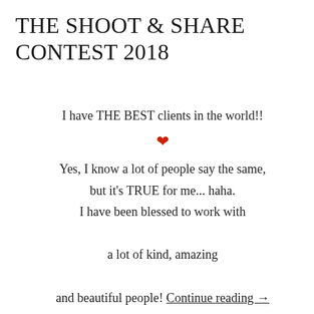THE SHOOT & SHARE CONTEST 2018
I have THE BEST clients in the world!!
❤
Yes, I know a lot of people say the same, but it's TRUE for me... haha. I have been blessed to work with a lot of kind, amazing and beautiful people! Continue reading →
APRIL 10, 2018 BY SALLY-ANN TAYLOR
Privacy & Cookies: This site uses cookies. By continuing to use this website, you agree to their use.
To find out more, including how to control cookies, see here: Cookie Policy
Close and accept